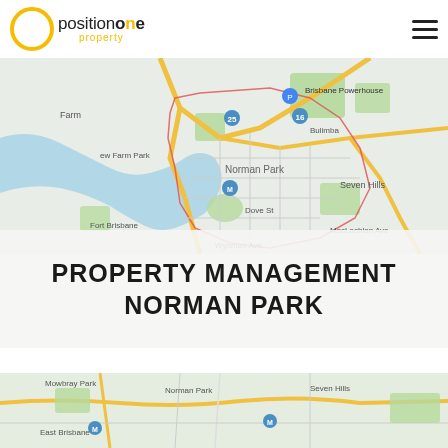STAFFORD
[Figure (logo): Position One Property logo with yellow circle and text]
[Figure (map): Google Maps view of Norman Park / New Farm area in Brisbane, showing roads, parks, and river]
PROPERTY MANAGEMENT NORMAN PARK
[Figure (map): Google Maps view of Norman Park, Seven Hills, East Brisbane, Mowbray Park area]